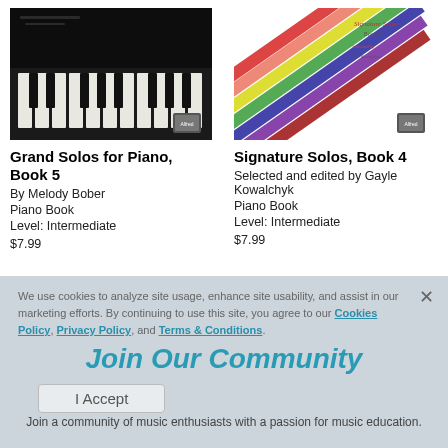[Figure (photo): Book cover for Grand Solos for Piano Book 5 — dark photo of a grand piano keyboard]
Grand Solos for Piano, Book 5
By Melody Bober
Piano Book
Level: Intermediate
$7.99
[Figure (photo): Book cover for Signature Solos Book 4 — colorful diagonal pencils on white background]
Signature Solos, Book 4
Selected and edited by Gayle Kowalchyk
Piano Book
Level: Intermediate
$7.99
We use cookies to analyze site usage, enhance site usability, and assist in our marketing efforts. By continuing to use this site, you agree to our Cookies Policy, Privacy Policy, and Terms & Conditions.
Join Our Community
I Accept
Join a community of music enthusiasts with a passion for music education.